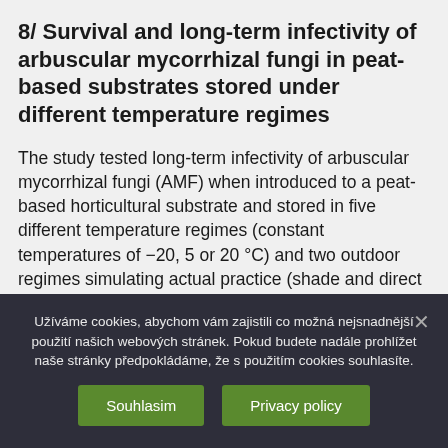8/ Survival and long-term infectivity of arbuscular mycorrhizal fungi in peat-based substrates stored under different temperature regimes
The study tested long-term infectivity of arbuscular mycorrhizal fungi (AMF) when introduced to a peat-based horticultural substrate and stored in five different temperature regimes (constant temperatures of −20, 5 or 20 °C) and two outdoor regimes simulating actual practice (shade and direct sunlight). Eight AMF inocula were tested, including 5 monocultures applied as 4% (v) of the substrate or their mixture in 1%, 4% and 8% (v) doses. Their infectivity was monitored for 56 weeks at 8-week intervals. In general, infectivity
Užíváme cookies, abychom vám zajistili co možná nejsnadnější použití našich webových stránek. Pokud budete nadále prohlížet naše stránky předpokládáme, že s použitím cookies souhlasíte.
Souhlasim   Privacy policy